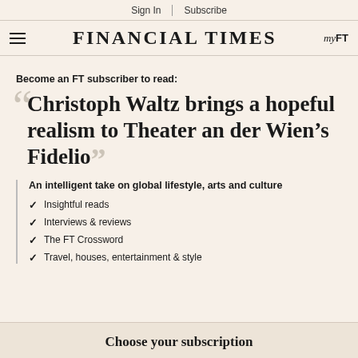Sign In | Subscribe
FINANCIAL TIMES  myFT
Become an FT subscriber to read:
Christoph Waltz brings a hopeful realism to Theater an der Wien's Fidelio
An intelligent take on global lifestyle, arts and culture
Insightful reads
Interviews & reviews
The FT Crossword
Travel, houses, entertainment & style
Choose your subscription